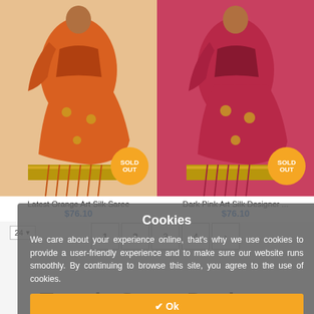[Figure (photo): Orange art silk saree draped on a woman model, with gold border and floral patterns. Sold Out badge in orange circle.]
[Figure (photo): Dark pink/red art silk designer saree draped on a woman model, with gold border and floral patterns. Sold Out badge in orange circle.]
Latest Orange Art Silk Saree
Dark Pink Art Silk Designer ...
$76.10
$76.10
1  2  3  4  >
24 ▼
Trendy Saree Designs
Cookies
We care about your experience online, that's why we use cookies to provide a user-friendly experience and to make sure our website runs smoothly. By continuing to browse this site, you agree to the use of cookies.